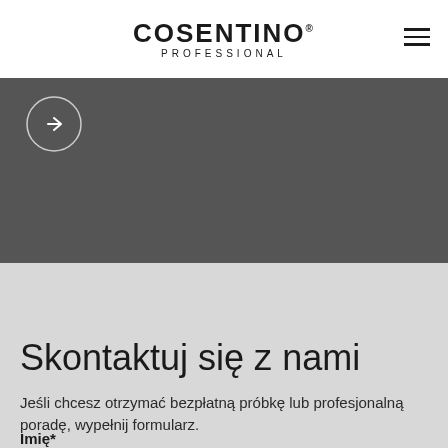COSENTINO PROFESSIONAL
[Figure (screenshot): Dark gray banner section with a circular arrow button (right-pointing arrow inside a circle outline) in the upper-left area of the banner.]
Skontaktuj się z nami
Jeśli chcesz otrzymać bezpłatną próbkę lub profesjonalną poradę, wypełnij formularz.
Imię*